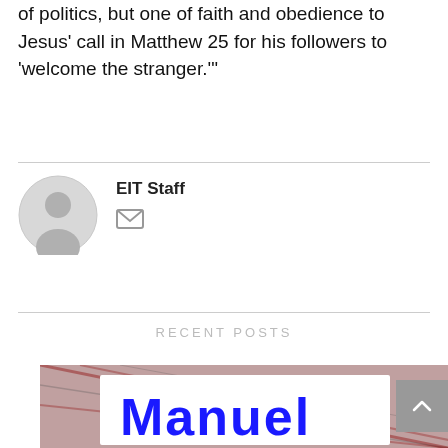of politics, but one of faith and obedience to Jesus' call in Matthew 25 for his followers to 'welcome the stranger.'
EIT Staff
[Figure (illustration): Default avatar/profile placeholder icon — grey circle with grey person silhouette]
[Figure (illustration): Envelope/mail icon in grey outline]
RECENT POSTS
[Figure (photo): Person wearing a plaid shirt holding a white sign with 'Manuel' written in blue marker, partially cropped]